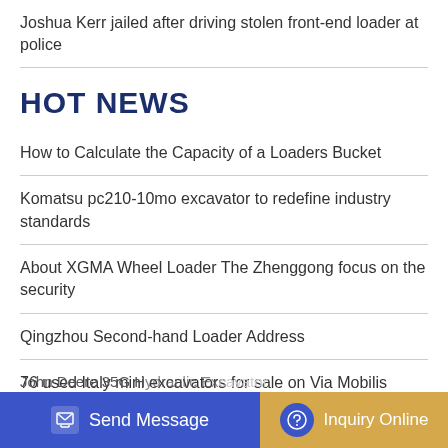Joshua Kerr jailed after driving stolen front-end loader at police
HOT NEWS
How to Calculate the Capacity of a Loaders Bucket
Komatsu pc210-10mo excavator to redefine industry standards
About XGMA Wheel Loader The Zhenggong focus on the security
Qingzhou Second-hand Loader Address
76 used Italy mini excavators for sale on Via Mobilis
John Deere 35G Hydraulic Excavator